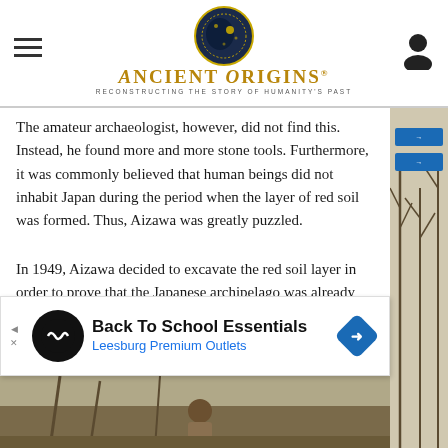ANCIENT ORIGINS — Reconstructing the story of humanity's past
The amateur archaeologist, however, did not find this. Instead, he found more and more stone tools. Furthermore, it was commonly believed that human beings did not inhabit Japan during the period when the layer of red soil was formed. Thus, Aizawa was greatly puzzled.
In 1949, Aizawa decided to excavate the red soil layer in order to prove that the Japanese archipelago was already inhabited by humans when this layer was formed. In addition, Aizawa chose to seek the help of professionals in evaluating the site by visiting a professor at a university in Tokyo. Due to the prevailing thinking at that time (that Japan was not inhabited by humans prior to the Jōmon period), the professor was not convinced by Aizawa.
[Figure (other): Advertisement banner: Back To School Essentials — Leesburg Premium Outlets]
[Figure (photo): Partially visible outdoor photo at bottom of page, showing a person and trees/signs]